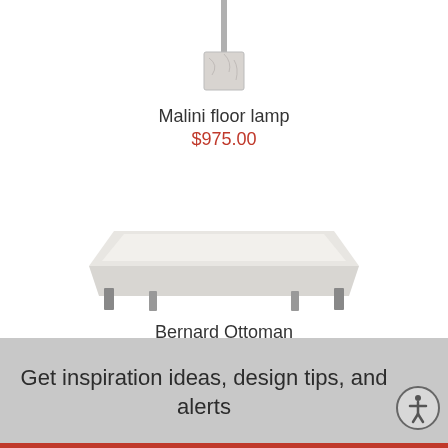[Figure (photo): Malini floor lamp product image — a tall lamp with marble-like square base, partial view showing only the base portion]
Malini floor lamp
$975.00
[Figure (photo): Bernard Ottoman product image — a square white upholstered ottoman with metal legs on a white background]
Bernard Ottoman
$795.00
Get inspiration ideas, design tips, and alerts